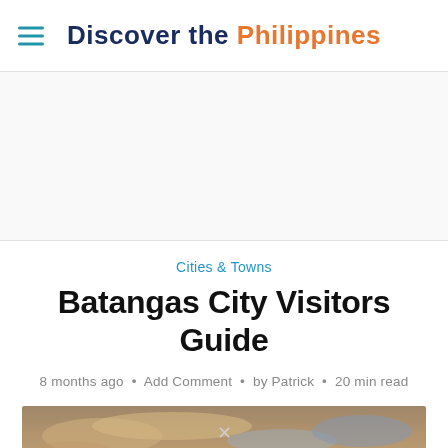Discover the Philippines
Cities & Towns
Batangas City Visitors Guide
8 months ago • Add Comment • by Patrick • 20 min read
[Figure (photo): Panoramic photo of Batangas City landscape with mountains in the background and a lighthouse or monument in the foreground under a dramatic sky]